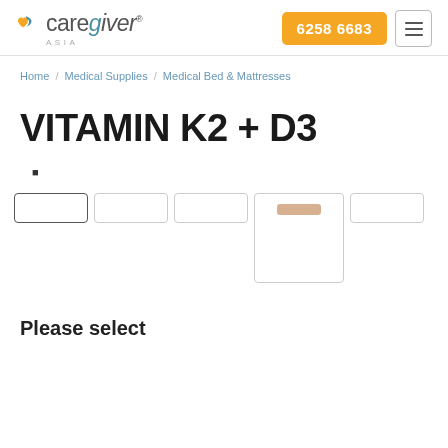Caregiver Asia — 6258 6683
Home / Medical Supplies / Medical Bed & Mattresses
VITAMIN K2 + D3
■
[Figure (photo): Product image thumbnail strip showing 5 thumbnail frames, with the 4th one enlarged and showing a small tan/beige capsule-like shape]
Please select